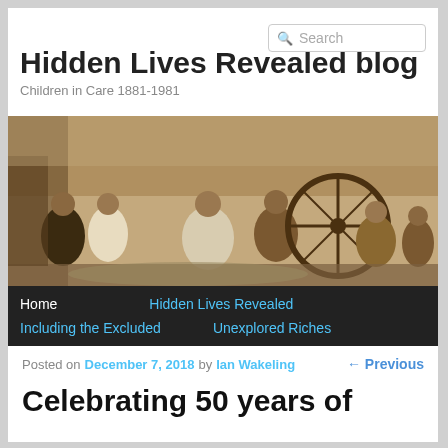Search
Hidden Lives Revealed blog
Children in Care 1881-1981
[Figure (photo): Sepia-toned historical photograph of several young boys sitting on the ground outdoors, with a large wheel visible in the background]
Home   Hidden Lives Revealed   Including the Excluded   Unexplored Riches
Posted on December 7, 2018 by Ian Wakeling   ← Previous
Celebrating 50 years of